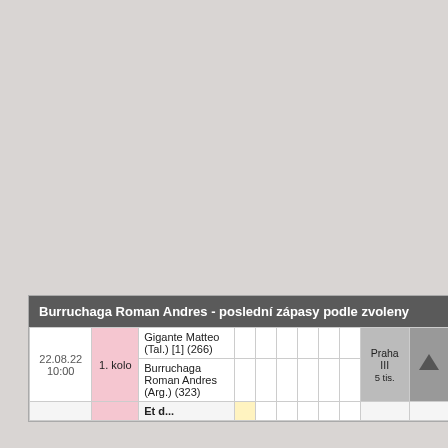[Figure (other): Large grey/beige blank area at the top of the page, appears to be a cropped map or image background]
| Date | Round | Players |  |  |  |  |  |  | Venue |  |  |
| --- | --- | --- | --- | --- | --- | --- | --- | --- | --- | --- | --- |
| 22.08.22 10:00 | 1. kolo | Gigante Matteo (Tal.) [1] (266) |  |  |  |  |  |  | Praha III |  | 5 tis. |
| 22.08.22 10:00 | 1. kolo | Burruchaga Roman Andres (Arg.) (323) |  |  |  |  |  |  |  |  |  |
|  |  | Et d... |  |  |  |  |  |  |  |  |  |